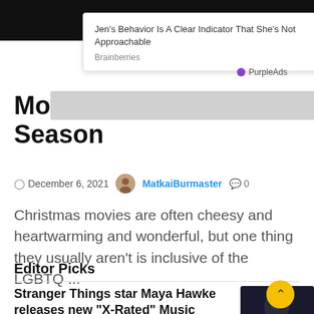[Figure (other): Ad popup overlay with close button showing Brainberries article title and PurpleAds label]
Mo... ...y Season
December 6, 2021  MatkaiBurmaster  0
Christmas movies are often cheesy and heartwarming and wonderful, but one thing they usually aren't is inclusive of the LGBTQ ...
Editor Picks
Stranger Things star Maya Hawke releases new "X-Rated" Music Video